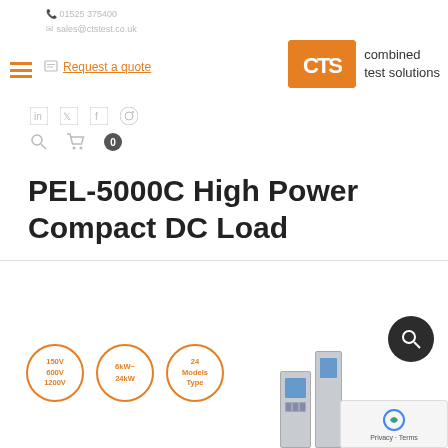Combined Test Solutions - CTS - Request a quote
PEL-5000C High Power Compact DC Load
[Figure (photo): Product page showing PEL-5000C DC Load units with three orange circular badges indicating: 150V 600V 1200V, 6kW~24kW, and 24 Models Type. Several rack-mounted DC load units are visible in the background.]